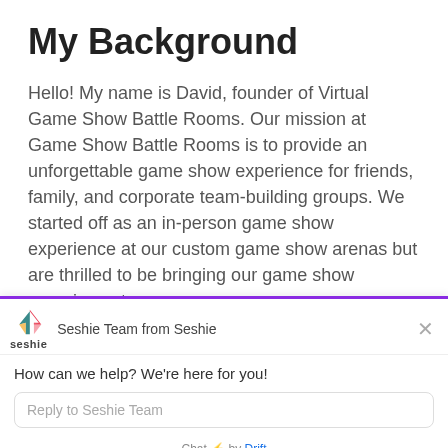My Background
Hello! My name is David, founder of Virtual Game Show Battle Rooms. Our mission at Game Show Battle Rooms is to provide an unforgettable game show experience for friends, family, and corporate team-building groups. We started off as an in-person game show experience at our custom game show arenas but are thrilled to be bringing our game show experience to ’ audiences on Seshie and around the world! We
[Figure (screenshot): Seshie chat widget popup with logo, team name 'Seshie Team from Seshie', message 'How can we help? We’re here for you!', reply input box, and 'Chat by Drift' footer]